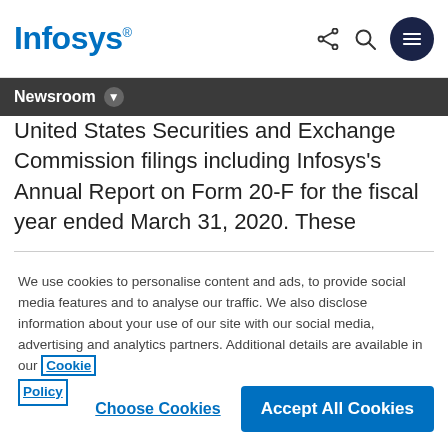Infosys® [logo with share, search, menu icons]
Newsroom
United States Securities and Exchange Commission filings including Infosys's Annual Report on Form 20-F for the fiscal year ended March 31, 2020. These
We use cookies to personalise content and ads, to provide social media features and to analyse our traffic. We also disclose information about your use of our site with our social media, advertising and analytics partners. Additional details are available in our Cookie Policy
Choose Cookies   Accept All Cookies